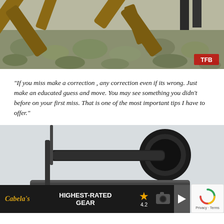[Figure (photo): Outdoor photo showing wooden cross-shaped shooting rest/bipod structure in a field of low sage brush, with person's legs visible at top]
“If you miss make a correction , any correction even if its wrong. Just make an educated guess and move. You may see something you didn’t before on your first miss. That is one of the most important tips I have to offer.”
[Figure (photo): Close-up photo of a rifle scope mounted on a firearm, against a light gray background, with a Cabela's 'Highest-Rated Gear' advertisement banner overlaid at the bottom showing a 4.2 star rating and camera icon]